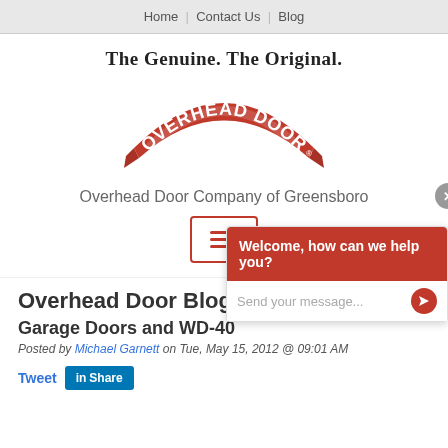Home | Contact Us | Blog
The Genuine. The Original.
[Figure (logo): Overhead Door red ribbon logo with white text]
Overhead Door Company of Greensboro
[Figure (screenshot): Hamburger menu button with three horizontal lines, red border]
Overhead Door Blog
Garage Doors and WD-40
Posted by Michael Garnett on Tue, May 15, 2012 @ 09:01 AM
[Figure (screenshot): Chat overlay with red header 'Welcome, how can we help you?' and close button]
Tweet  Share